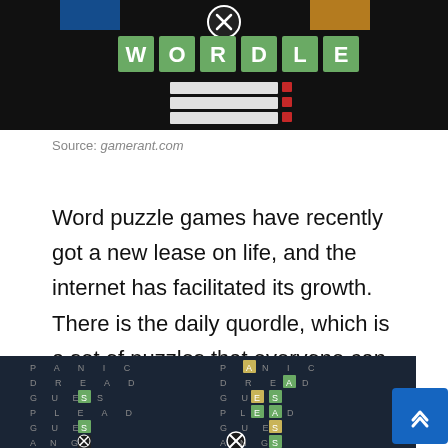[Figure (screenshot): Wordle game screenshot with green letter tiles spelling W-O-R-D-L-E on a black background with a close button]
Source: gamerant.com
Word puzzle games have recently got a new lease on life, and the internet has facilitated its growth. There is the daily quordle, which is a set of puzzles that everyone can compete against and replicates the feeling of.
[Figure (screenshot): Quordle game screenshot showing a 4-grid word puzzle with colored letter tiles on a dark background]